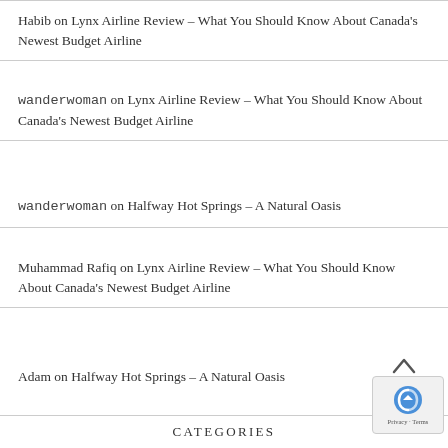Habib on Lynx Airline Review – What You Should Know About Canada's Newest Budget Airline
wanderwoman on Lynx Airline Review – What You Should Know About Canada's Newest Budget Airline
wanderwoman on Halfway Hot Springs – A Natural Oasis
Muhammad Rafiq on Lynx Airline Review – What You Should Know About Canada's Newest Budget Airline
Adam on Halfway Hot Springs – A Natural Oasis
CATEGORIES